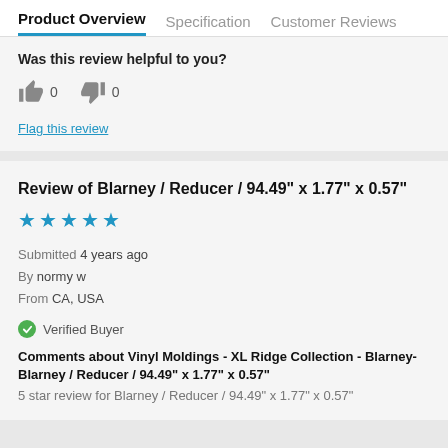Product Overview  Specification  Customer Reviews
Was this review helpful to you?
👍 0  👎 0
Flag this review
Review of Blarney / Reducer / 94.49" x 1.77" x 0.57"
★★★★★
Submitted 4 years ago
By normy w
From CA, USA
Verified Buyer
Comments about Vinyl Moldings - XL Ridge Collection - Blarney-Blarney / Reducer / 94.49" x 1.77" x 0.57"
5 star review for Blarney / Reducer / 94.49" x 1.77" x 0.57"